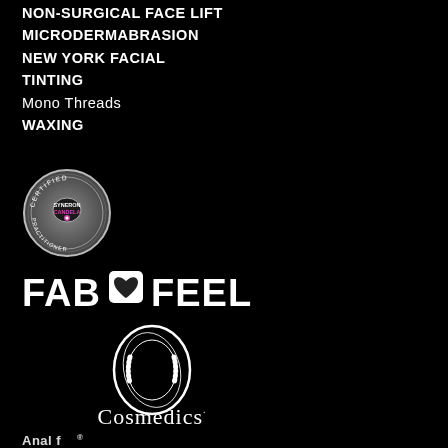NON-SURGICAL FACE LIFT
MICRODERMABRASION
NEW YORK FACIAL
TINTING
Mono Threads
WAXING
[Figure (logo): Syneron Candela Certified Practitioner circular badge/seal in grey tones]
[Figure (logo): FAB with heart-shield icon FEEL logo in white on black]
[Figure (logo): O Cosmedics brand logo with large decorative O and Cosmedics text in white serif font]
[Figure (logo): Partial logo at bottom of page, cropped]